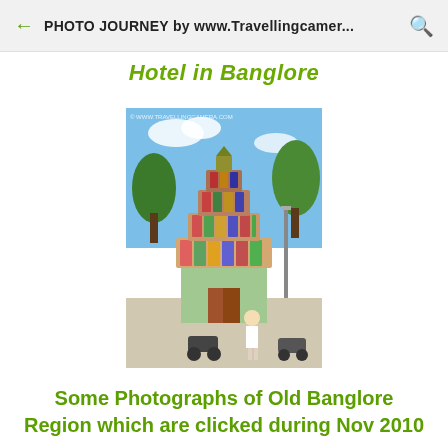PHOTO JOURNEY by www.Travellingcamer...
Hotel in Banglore
[Figure (photo): Colorful South Indian Hindu temple gopuram (tower) with ornate sculptures, green trees in background, motorbikes and a person in white clothing in the foreground, taken in Bangalore, India. Watermark: www.travellingcamera.com]
Some Photographs of Old Banglore Region which are clicked during Nov 2010